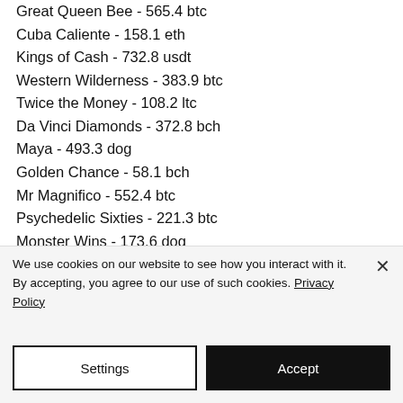Great Queen Bee - 565.4 btc
Cuba Caliente - 158.1 eth
Kings of Cash - 732.8 usdt
Western Wilderness - 383.9 btc
Twice the Money - 108.2 ltc
Da Vinci Diamonds - 372.8 bch
Maya - 493.3 dog
Golden Chance - 58.1 bch
Mr Magnifico - 552.4 btc
Psychedelic Sixties - 221.3 btc
Monster Wins - 173.6 dog
Diamond Cherries - 633.5 eth
Geisha - 476.5 bch
We use cookies on our website to see how you interact with it. By accepting, you agree to our use of such cookies. Privacy Policy